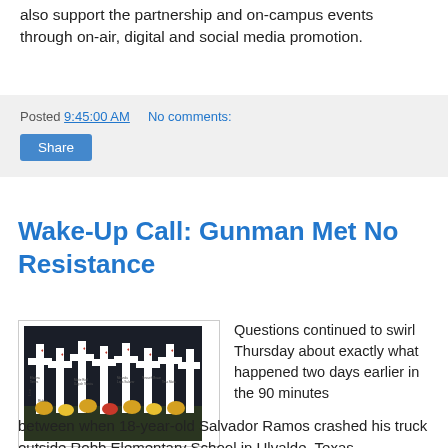also support the partnership and on-campus events through on-air, digital and social media promotion.
Posted 9:45:00 AM   No comments:
Share
Wake-Up Call: Gunman Met No Resistance
[Figure (photo): Photo of white memorial crosses with flowers, names of victims visible including Lexi Rubio, Eliahna Torres, Maite Rod, Uziyah Garcia, Miranda, Laya Salazar, Nevaeh Bravo, Tess Mata]
Questions continued to swirl Thursday about exactly what happened two days earlier in the 90 minutes between when 18-year-old Salvador Ramos crashed his truck outside Robb Elementary School in Ulvalde, Texas,